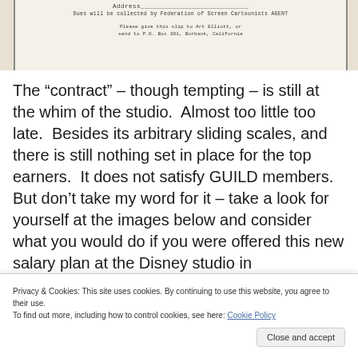[Figure (photo): Scanned typewritten document showing address line, dues collection notice by Federation of Screen Cartoonists AGENT, and instructions to give slip to Art Elliott or send to P.O. Box 301, Burbank, California]
The “contract” – though tempting – is still at the whim of the studio.  Almost too little too late.  Besides its arbitrary sliding scales, and there is still nothing set in place for the top earners.  It does not satisfy GUILD members.  But don’t take my word for it – take a look for yourself at the images below and consider what you would do if you were offered this new salary plan at the Disney studio in
Privacy & Cookies: This site uses cookies. By continuing to use this website, you agree to their use.
To find out more, including how to control cookies, see here: Cookie Policy
Close and accept